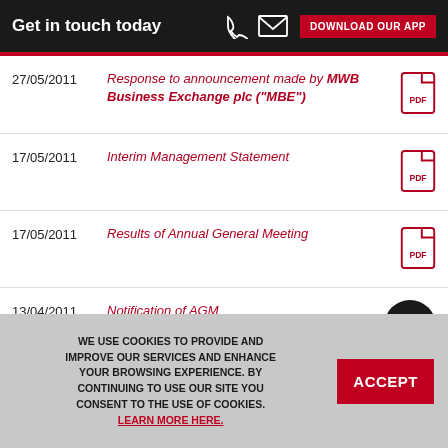Get in touch today  DOWNLOAD OUR APP
27/05/2011 — Response to announcement made by MWB Business Exchange plc ("MBE")
17/05/2011 — Interim Management Statement
17/05/2011 — Results of Annual General Meeting
13/04/2011 — Notification of AGM
13/04/2011 — Form of AGM Proxy
WE USE COOKIES TO PROVIDE AND IMPROVE OUR SERVICES AND ENHANCE YOUR BROWSING EXPERIENCE. BY CONTINUING TO USE OUR SITE YOU CONSENT TO THE USE OF COOKIES. LEARN MORE HERE.